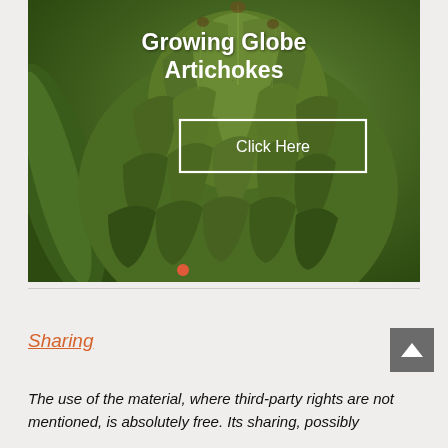[Figure (photo): Close-up photo of a green globe artichoke with title overlay 'Growing Globe Artichokes' and a 'Click Here' button with white border, and a red dot indicator at the bottom]
Sharing
The use of the material, where third-party rights are not mentioned, is absolutely free. Its sharing, possibly